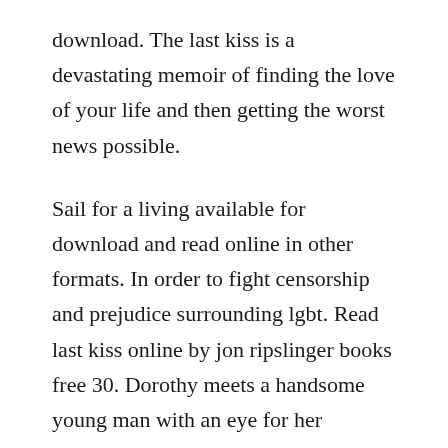download. The last kiss is a devastating memoir of finding the love of your life and then getting the worst news possible.
Sail for a living available for download and read online in other formats. In order to fight censorship and prejudice surrounding lgbt. Read last kiss online by jon ripslinger books free 30. Dorothy meets a handsome young man with an eye for her inheritance while she is in her sophomore year. The thing is, i really do believe in supporting authors who are writing outstanding books. A spellbinding tale